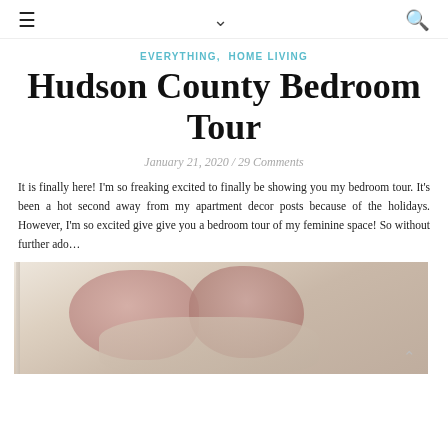☰  ∨  🔍
EVERYTHING, HOME LIVING
Hudson County Bedroom Tour
January 21, 2020 / 29 Comments
It is finally here! I'm so freaking excited to finally be showing you my bedroom tour. It's been a hot second away from my apartment decor posts because of the holidays. However, I'm so excited give give you a bedroom tour of my feminine space! So without further ado…
[Figure (photo): Bedroom photo showing soft pink and dusty rose pillows on a bed with neutral warm backdrop, natural window light on the left side.]